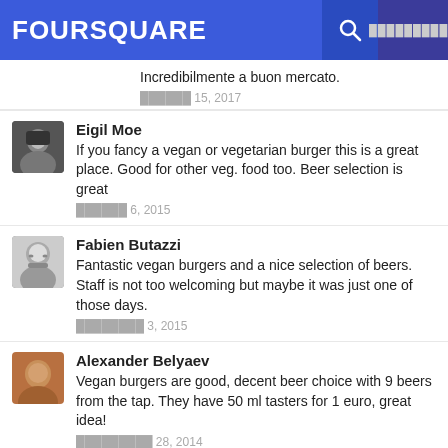FOURSQUARE
Incredibilmente a buon mercato.
██████ 15, 2017
Eigil Moe
If you fancy a vegan or vegetarian burger this is a great place. Good for other veg. food too. Beer selection is great
██████ 6, 2015
Fabien Butazzi
Fantastic vegan burgers and a nice selection of beers. Staff is not too welcoming but maybe it was just one of those days.
████████ 3, 2015
Alexander Belyaev
Vegan burgers are good, decent beer choice with 9 beers from the tap. They have 50 ml tasters for 1 euro, great idea!
█████████ 28, 2014
Helena L.
Awesome selection of local craft beer both on draught and bottled. And vegan burgers! What else do you need?